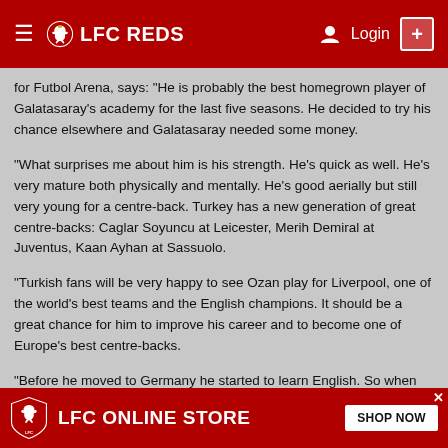LFC REDS | Login
for Futbol Arena, says: “He is probably the best homegrown player of Galatasaray’s academy for the last five seasons. He decided to try his chance elsewhere and Galatasaray needed some money.
“What surprises me about him is his strength. He’s quick as well. He’s very mature both physically and mentally. He’s good aerially but still very young for a centre-back. Turkey has a new generation of great centre-backs: Caglar Soyuncu at Leicester, Merih Demiral at Juventus, Kaan Ayhan at Sassuolo.
“Turkish fans will be very happy to see Ozan play for Liverpool, one of the world’s best teams and the English champions. It should be a great chance for him to improve his career and to become one of Europe’s best centre-backs.
“Before he moved to Germany he started to learn English. So when he went to Germany at first he used English then started to learn German. So he will have a basic knowledge of English already.”
Some have questioned the wisdom of Liverpool signing a young centre-back who has been part of the Bundesliga’s most porous back line this season to help in their pursuit of glory. However, that ignores the fact
LFC ONLINE STORE | SHOP NOW